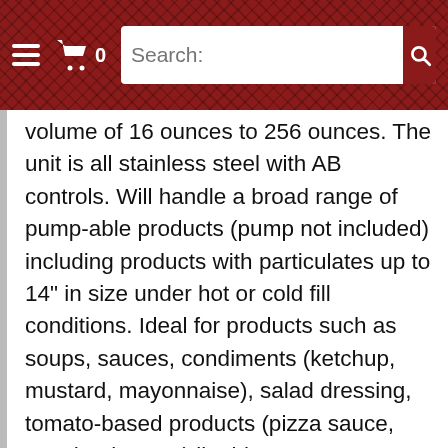≡  🛒 0   Search:
volume of 16 ounces to 256 ounces. The unit is all stainless steel with AB controls. Will handle a broad range of pump-able products (pump not included) including products with particulates up to 14" in size under hot or cold fill conditions. Ideal for products such as soups, sauces, condiments (ketchup, mustard, mayonnaise), salad dressing, tomato-based products (pizza sauce, spaghetti sauce) liquid eggs, taco meat filling. Last running tomato based products. Requires 230 vac 3 phase electrical, 90 psi and 300 cfm of compressed air, and 5 gpm of